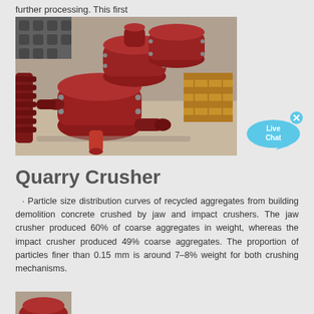further processing. This first
[Figure (photo): Red industrial quarry crusher machines (spiral/screw type) stacked on a concrete floor in a warehouse or factory setting. Several large red metal pieces with flanges and bolts visible. Wooden crate visible in background right.]
[Figure (infographic): Live Chat button - blue speech bubble with 'Live Chat' text and an X close button]
Quarry Crusher
· Particle size distribution curves of recycled aggregates from building demolition concrete crushed by jaw and impact crushers. The jaw crusher produced 60% of coarse aggregates in weight, whereas the impact crusher produced 49% coarse aggregates. The proportion of particles finer than 0.15 mm is around 7–8% weight for both crushing mechanisms.
[Figure (photo): Partial view of another crusher machine at the bottom of the page, cropped.]